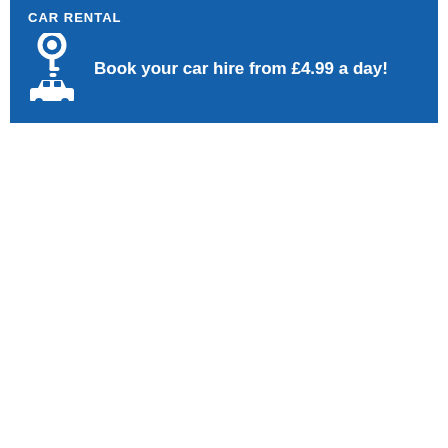CAR RENTAL
Book your car hire from £4.99 a day!